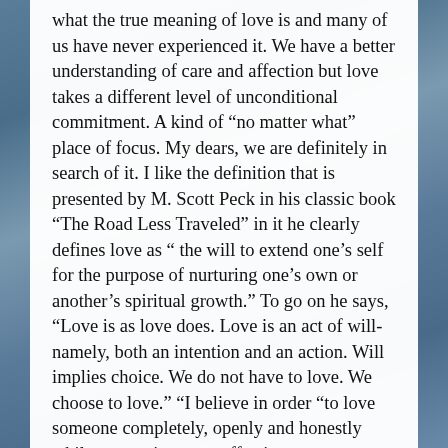what the true meaning of love is and many of us have never experienced it. We have a better understanding of care and affection but love takes a different level of unconditional commitment. A kind of “no matter what” place of focus. My dears, we are definitely in search of it. I like the definition that is presented by M. Scott Peck in his classic book “The Road Less Traveled” in it he clearly defines love as “ the will to extend one’s self for the purpose of nurturing one’s own or another’s spiritual growth.” To go on he says, “Love is as love does. Love is an act of will-namely, both an intention and an action. Will implies choice. We do not have to love. We choose to love.” “I believe in order “to love someone completely, openly and honestly while expressing care, affection, responsibility, respect, commitment and trust” we must truly be ready to willing to openly focus on each of these values with our whole